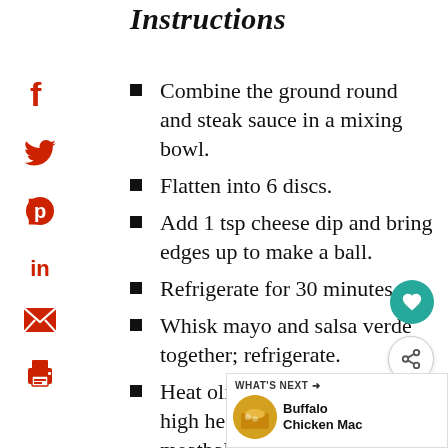Instructions
Combine the ground round and steak sauce in a mixing bowl.
Flatten into 6 discs.
Add 1 tsp cheese dip and bring edges up to make a ball.
Refrigerate for 30 minutes.
Whisk mayo and salsa verde together; refrigerate.
Heat olive oil over medium-high heat and add cold meatballs.